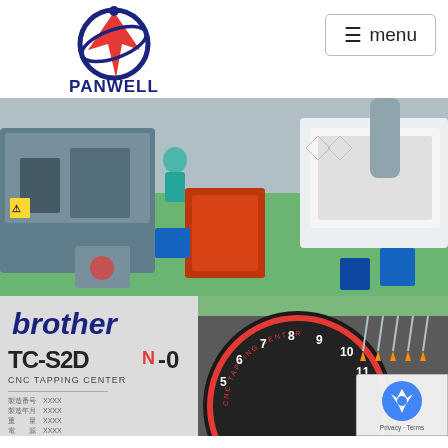[Figure (logo): Panwell company logo with rocket/globe icon and blue PANWELL text]
≡ menu
[Figure (photo): Factory floor with CNC machines, blue and white industrial equipment, green floor, workers in blue uniforms]
[Figure (photo): Brother TC-S2DN-0 CNC Tapping Center machine label panel]
[Figure (photo): CNC tapping center rotary tool carousel/dial with numbered positions 5-11 visible]